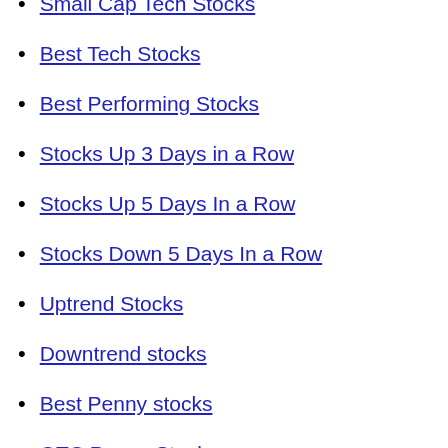Small Cap Tech Stocks
Best Tech Stocks
Best Performing Stocks
Stocks Up 3 Days in a Row
Stocks Up 5 Days In a Row
Stocks Down 5 Days In a Row
Uptrend Stocks
Downtrend stocks
Best Penny stocks
OTC Penny Stocks